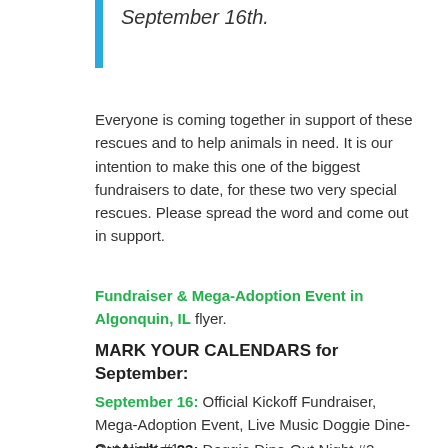September 16th.
Everyone is coming together in support of these rescues and to help animals in need. It is our intention to make this one of the biggest fundraisers to date, for these two very special rescues. Please spread the word and come out in support.
Fundraiser & Mega-Adoption Event in Algonquin, IL flyer.
MARK YOUR CALENDARS for September:
September 16: Official Kickoff Fundraiser, Mega-Adoption Event, Live Music Doggie Dine-Out Night #1
September 23: Doggie Dine-Out Night #2